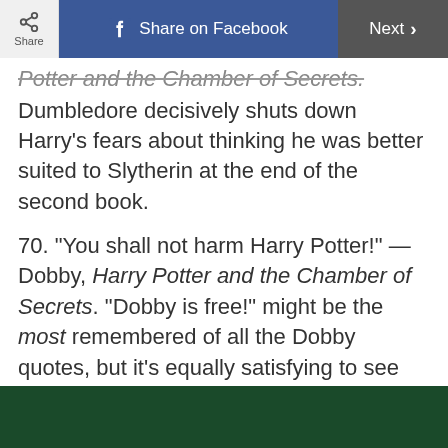Share | Share on Facebook | Next >
Potter and the Chamber of Secrets. Dumbledore decisively shuts down Harry's fears about thinking he was better suited to Slytherin at the end of the second book.
70. “You shall not harm Harry Potter!” — Dobby, Harry Potter and the Chamber of Secrets. “Dobby is free!” might be the most remembered of all the Dobby quotes, but it’s equally satisfying to see him totally whup his former master, Lucius Malfoy, in defense of Harry.
[Figure (photo): Dark green image at the bottom of the page, partially visible]